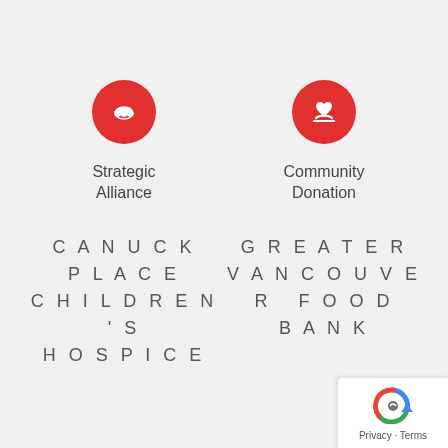[Figure (infographic): Red circle icon with handshake symbol representing Strategic Alliance]
Strategic Alliance
CANUCK PLACE CHILDREN'S HOSPICE
[Figure (infographic): Red circle icon with heart and hand symbol representing Community Donation]
Community Donation
GREATER VANCOUVER FOOD BANK
[Figure (logo): Google reCAPTCHA logo with Privacy and Terms links]